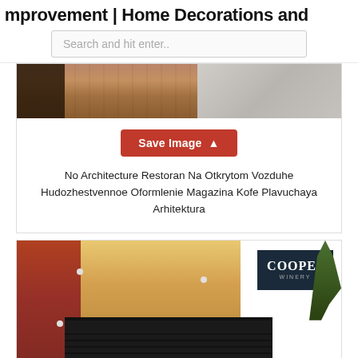mprovement | Home Decorations and
Search and hit enter..
[Figure (photo): Photo of a building facade with wooden horizontal siding panels and dark window, with stone pavement visible on the right.]
Save Image
No Architecture Restoran Na Otkrytom Vozduhe Hudozhestvennoe Oformlenie Magazina Kofe Plavuchaya Arhitektura
[Figure (photo): Photo of a winery building exterior (Cooper Winery) with brick walls, tan stucco, a dark metal canopy/awning over the entrance, wall-mounted light fixtures, and palm trees visible on the right.]